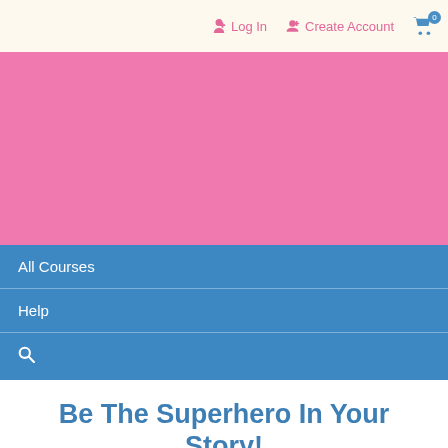Log In  Create Account  [cart: 0]
[Figure (other): Pink hero banner area — solid pink background with no visible content]
All Courses
Help
[Search icon]
Be The Superhero In Your Story!
Click The Start Now Button Below